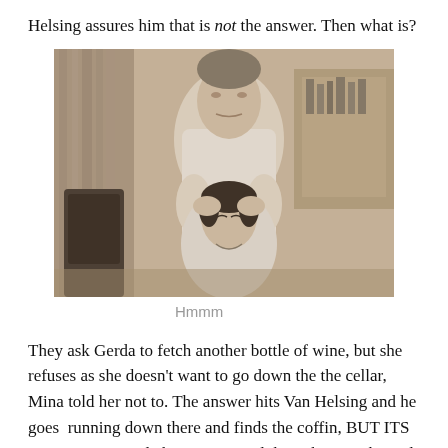Helsing assures him that is not the answer. Then what is?
[Figure (photo): Black and white photograph of a man standing behind a seated woman, with his hands on her head/shoulders, in an indoor setting.]
Hmmm
They ask Gerda to fetch another bottle of wine, but she refuses as she doesn't want to go down the the cellar, Mina told her not to. The answer hits Van Helsing and he goes  running down there and finds the coffin, BUT ITS EMPTY!!!! Dracla has outsmarted them, he's awake and